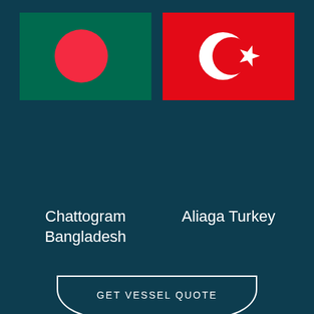[Figure (illustration): Flag of Bangladesh: dark green rectangle with a red circle slightly left of center]
[Figure (illustration): Flag of Turkey: red rectangle with white crescent moon and white star]
Chattogram
Bangladesh
Aliaga Turkey
GET VESSEL QUOTE